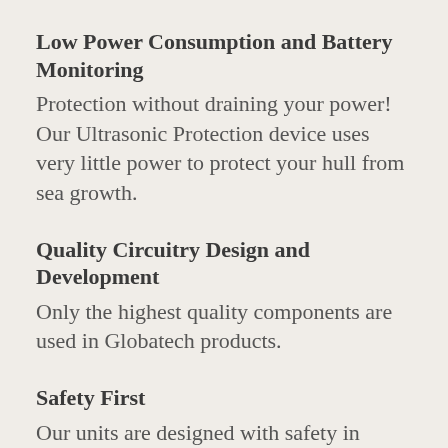Low Power Consumption and Battery Monitoring
Protection without draining your power!  Our Ultrasonic Protection device uses very little power to protect your hull from sea growth.
Quality Circuitry Design and Development
Only the highest quality components are used in Globatech products.
Safety First
Our units are designed with safety in mind.